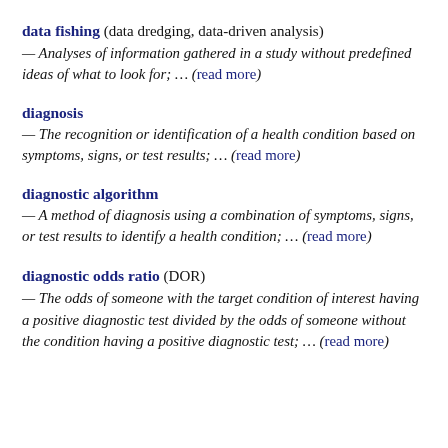data fishing (data dredging, data-driven analysis) — Analyses of information gathered in a study without predefined ideas of what to look for; … (read more)
diagnosis — The recognition or identification of a health condition based on symptoms, signs, or test results; … (read more)
diagnostic algorithm — A method of diagnosis using a combination of symptoms, signs, or test results to identify a health condition; … (read more)
diagnostic odds ratio (DOR) — The odds of someone with the target condition of interest having a positive diagnostic test divided by the odds of someone without the condition having a positive diagnostic test; … (read more)